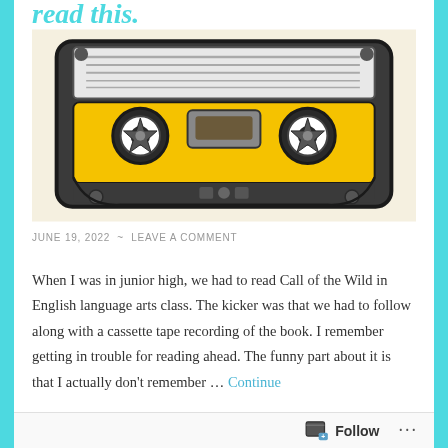read this.
[Figure (illustration): Illustration of a retro cassette tape with yellow body, gray tape window, dark gray frame, round reels with star-shaped holes, on a cream/beige background.]
JUNE 19, 2022 ~ LEAVE A COMMENT
When I was in junior high, we had to read Call of the Wild in English language arts class. The kicker was that we had to follow along with a cassette tape recording of the book. I remember getting in trouble for reading ahead. The funny part about it is that I actually don't remember … Continue reading
Follow ...